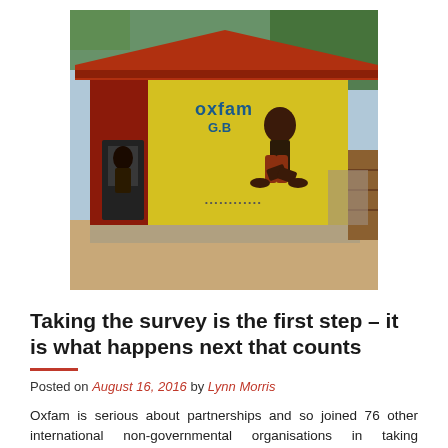[Figure (photo): A yellow building with a red roof featuring Oxfam G.B. branding painted on its wall, with a mural of a squatting figure. The structure appears to be a latrine or sanitation facility in an outdoor setting with trees visible in the background.]
Taking the survey is the first step – it is what happens next that counts
Posted on August 16, 2016 by Lynn Morris
Oxfam is serious about partnerships and so joined 76 other international non-governmental organisations in taking Keystone's Partnership survey, which solicits